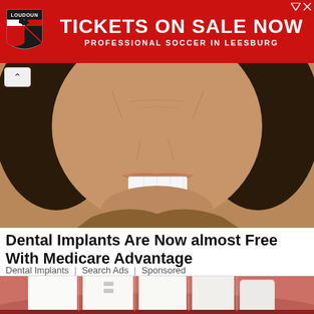[Figure (other): Loudoun United FC advertisement banner: red background with shield logo on left showing black bird/dragon, large white text 'TICKETS ON SALE NOW', subtitle 'PROFESSIONAL SOCCER IN LEESBURG']
[Figure (photo): Close-up photo of an older person smiling widely showing white teeth, with long dark hair, deeply wrinkled skin, wearing patterned clothing]
Dental Implants Are Now almost Free With Medicare Advantage
Dental Implants | Search Ads | Sponsored
[Figure (photo): Close-up macro photo of white dental implants or porcelain teeth against pink gum tissue background]